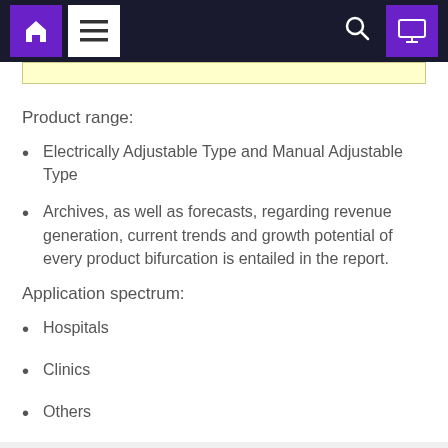Navigation bar with home, menu, search, and monitor icons
Product range:
Electrically Adjustable Type and Manual Adjustable Type
Archives, as well as forecasts, regarding revenue generation, current trends and growth potential of every product bifurcation is entailed in the report.
Application spectrum:
Hospitals
Clinics
Others